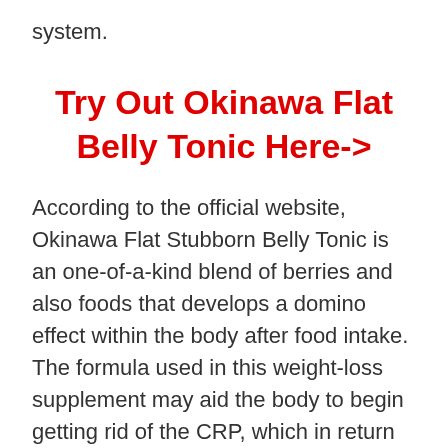system.
Try Out Okinawa Flat Belly Tonic Here->
According to the official website, Okinawa Flat Stubborn Belly Tonic is an one-of-a-kind blend of berries and also foods that develops a domino effect within the body after food intake. The formula used in this weight-loss supplement may aid the body to begin getting rid of the CRP, which in return offers your body an all-natural fat-burning capability, as well as it likewise might assist improve metabolic rate. The whole process is developed in a way that helps users lose weight